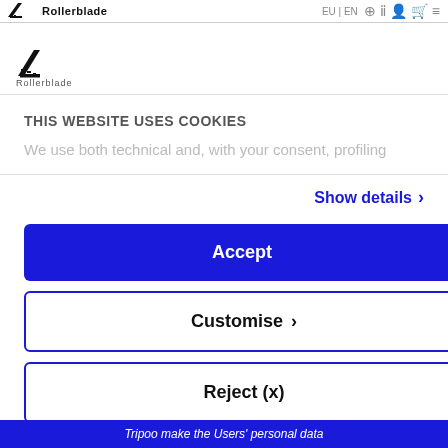[Figure (logo): Rollerblade logo - skate blade icon with 'Rollerblade' text below]
THIS WEBSITE USES COOKIES
We use both technical and, with your consent, profiling
Show details >
Accept
Customise >
Reject (x)
Powered by Cookiebot by Usercentrics
Tripoo make the Users' personal data